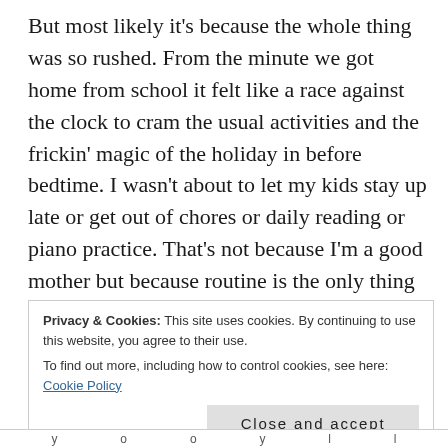But most likely it's because the whole thing was so rushed. From the minute we got home from school it felt like a race against the clock to cram the usual activities and the frickin' magic of the holiday in before bedtime. I wasn't about to let my kids stay up late or get out of chores or daily reading or piano practice. That's not because I'm a good mother but because routine is the only thing that sustains a semblance of sanity in this house. If I vary timing or activities too much, disorientation, tears and tantrums ensue. And that's just from me.
Privacy & Cookies: This site uses cookies. By continuing to use this website, you agree to their use.
To find out more, including how to control cookies, see here: Cookie Policy
Close and accept
y  o  o  y  l  l